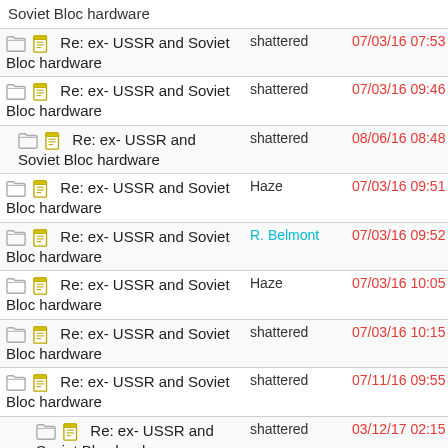| Topic | User | Date |
| --- | --- | --- |
| Re: ex- USSR and Soviet Bloc hardware | shattered | 07/03/16 07:53 PM |
| Re: ex- USSR and Soviet Bloc hardware | shattered | 07/03/16 09:46 PM |
| Re: ex- USSR and Soviet Bloc hardware | shattered | 08/06/16 08:48 PM |
| Re: ex- USSR and Soviet Bloc hardware | Haze | 07/03/16 09:51 PM |
| Re: ex- USSR and Soviet Bloc hardware | R. Belmont | 07/03/16 09:52 PM |
| Re: ex- USSR and Soviet Bloc hardware | Haze | 07/03/16 10:05 PM |
| Re: ex- USSR and Soviet Bloc hardware | shattered | 07/03/16 10:15 PM |
| Re: ex- USSR and Soviet Bloc hardware | shattered | 07/11/16 09:55 PM |
| Re: ex- USSR and Soviet Bloc hardware | shattered | 03/12/17 02:15 PM |
| Re: ex- USSR and Soviet Bloc hardware | shattered | 09/10/17 06:32 PM |